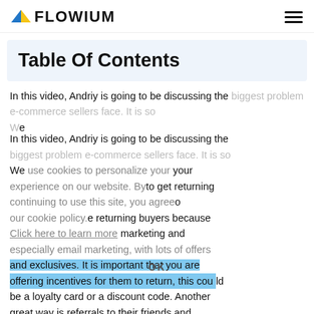FLOWIUM
Table Of Contents
In this video, Andriy is going to be discussing the biggest problem e-commerce sellers face. It is so [overlaid by cookie notice] to get returning [buyers] to get returning buyers because they have a huge budget for marketing and especially email marketing, with lots of offers and exclusives. It is important that you are offering incentives for them to return, this could be a loyalty card or a discount code. Another great way is referrals to their friends and
We use cookies to personalize your experience on our website. By continuing to use this site, you agree to our cookie policy.
Click here to learn more
OK